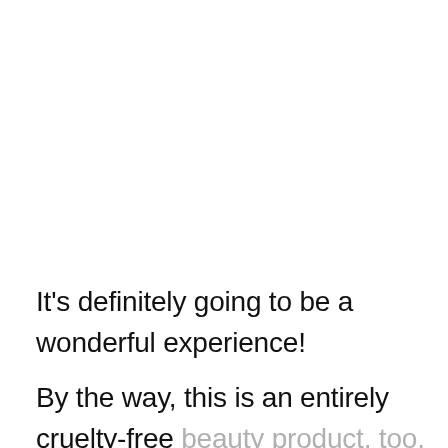It’s definitely going to be a wonderful experience!
By the way, this is an entirely cruelty-free beauty product, too, so you can feel good about using it.